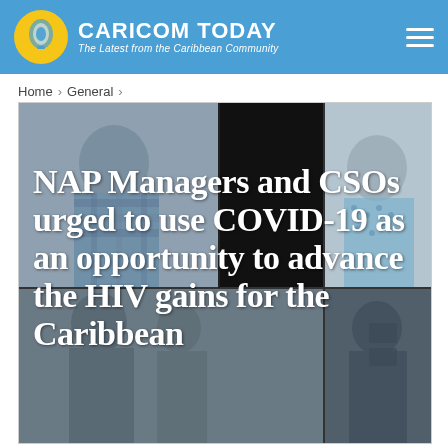CARICOM TODAY — The Latest from the Caribbean Community
Home › General ›
[Figure (photo): News article hero image: split-screen video call showing a man in a plaid shirt on left, a woman in a blue patterned blouse on right (top right), and another person in the bottom right panel. A black vertical bar divides center. White bold headline text overlaid reads: NAP Managers and CSOs urged to use COVID-19 as an opportunity to advance the HIV gains for the Caribbean]
NAP Managers and CSOs urged to use COVID-19 as an opportunity to advance the HIV gains for the Caribbean